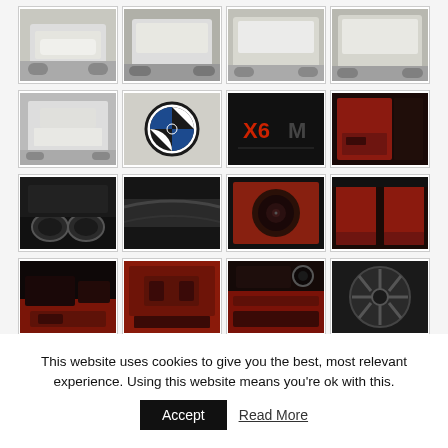[Figure (photo): Grid of 16 car photos showing a white BMW X6M - exterior views, BMW badge, X6M logo, red interior, exhaust pipes, speaker, wheel, and dashboard]
This website uses cookies to give you the best, most relevant experience. Using this website means you're ok with this.
Accept
Read More